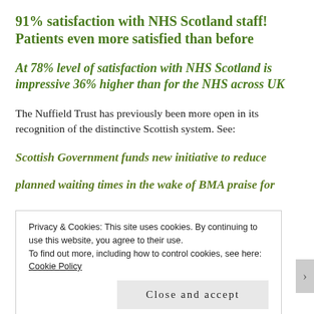91% satisfaction with NHS Scotland staff! Patients even more satisfied than before
At 78% level of satisfaction with NHS Scotland is impressive 36% higher than for the NHS across UK
The Nuffield Trust has previously been more open in its recognition of the distinctive Scottish system. See:
Scottish Government funds new initiative to reduce planned waiting times in the wake of BMA praise for
Privacy & Cookies: This site uses cookies. By continuing to use this website, you agree to their use.
To find out more, including how to control cookies, see here: Cookie Policy
Close and accept